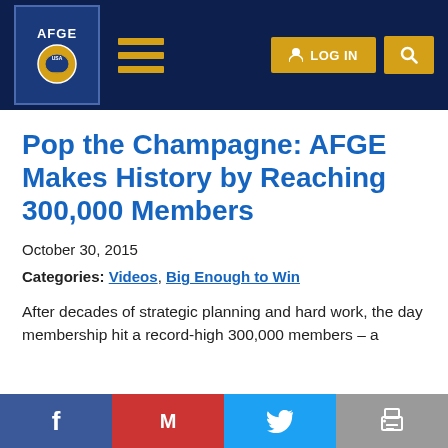[Figure (logo): AFGE logo and navigation bar with hamburger menu, LOGIN button, and search button]
Pop the Champagne: AFGE Makes History by Reaching 300,000 Members
October 30, 2015
Categories: Videos, Big Enough to Win
After decades of strategic planning and hard work, the day AFGE members cheered came when membership hit a record-high 300,000 members – a
[Figure (other): Social share bar with Facebook, Gmail, Twitter, and Print buttons]